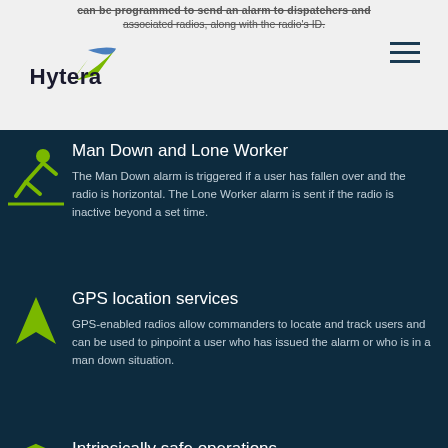can be programmed to send an alarm to dispatchers and associated radios, along with the radio's ID.
[Figure (logo): Hytera logo with stylized bird/wing mark in green and blue]
Man Down and Lone Worker
The Man Down alarm is triggered if a user has fallen over and the radio is horizontal. The Lone Worker alarm is sent if the radio is inactive beyond a set time.
GPS location services
GPS-enabled radios allow commanders to locate and track users and can be used to pinpoint a user who has issued the alarm or who is in a man down situation.
Intrinsically safe operations
Hytera offers world-leading 'intrinsically safe', ATEX/IECEx certified hand portable terminals and accessories enabling firefighters to communicate safely in potentially